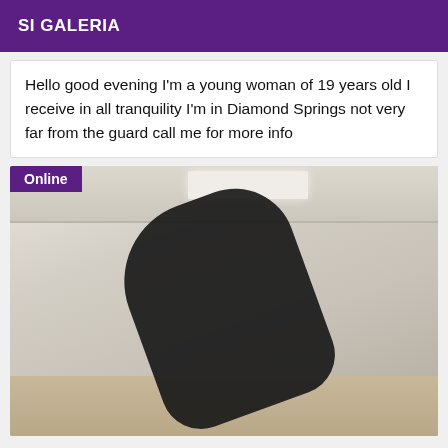SI GALERIA
Hello good evening I'm a young woman of 19 years old I receive in all tranquility I'm in Diamond Springs not very far from the guard call me for more info
[Figure (photo): A person dressed in black standing in a room with wooden flooring and white walls. An 'Online' badge is shown in the top-left corner of the image.]